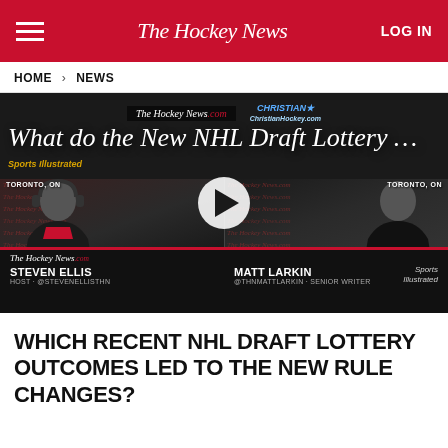The Hockey News — LOG IN
HOME > NEWS
[Figure (screenshot): Video thumbnail showing two hockey analysts (Steven Ellis and Matt Larkin) in a split-screen video with title 'What do the New NHL Draft Lottery ...' overlaid. Play button visible in center. Sports Illustrated and Christian Hockey branding visible. Lower bar shows names, roles, and The Hockey News.com logo.]
WHICH RECENT NHL DRAFT LOTTERY OUTCOMES LED TO THE NEW RULE CHANGES?